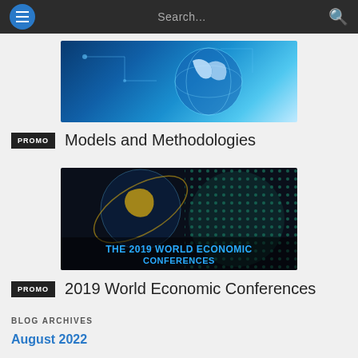Search...
[Figure (photo): Blue glowing digital globe on tech background with circuit patterns]
PROMO  Models and Methodologies
[Figure (photo): Dark globe with dots pattern and text: THE 2019 WORLD ECONOMIC CONFERENCES]
PROMO  2019 World Economic Conferences
BLOG ARCHIVES
August 2022